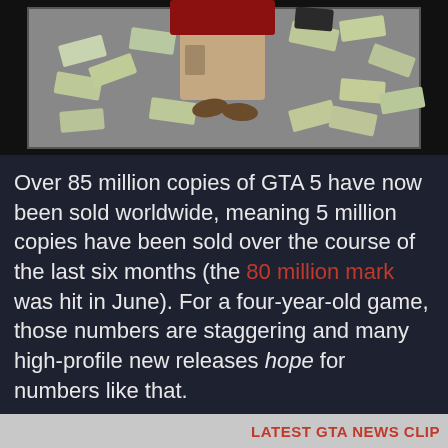[Figure (photo): Overhead photo of a person lying on a bed surrounded by scattered paper money/dollar bills]
Over 85 million copies of GTA 5 have now been sold worldwide, meaning 5 million copies have been sold over the course of the last six months (the 80 million mark was hit in June). For a four-year-old game, those numbers are staggering and many high-profile new releases hope for numbers like that.
LATEST GTA NEWS CLIP